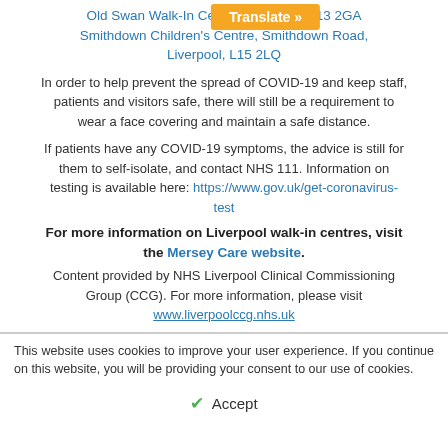Old Swan Walk-In Centre, Liverpool, L13 2GA
Smithdown Children's Centre, Smithdown Road, Liverpool, L15 2LQ
In order to help prevent the spread of COVID-19 and keep staff, patients and visitors safe, there will still be a requirement to wear a face covering and maintain a safe distance.
If patients have any COVID-19 symptoms, the advice is still for them to self-isolate, and contact NHS 111. Information on testing is available here: https://www.gov.uk/get-coronavirus-test
For more information on Liverpool walk-in centres, visit the Mersey Care website.
Content provided by NHS Liverpool Clinical Commissioning Group (CCG). For more information, please visit www.liverpoolccg.nhs.uk
This website uses cookies to improve your user experience. If you continue on this website, you will be providing your consent to our use of cookies.
Accept